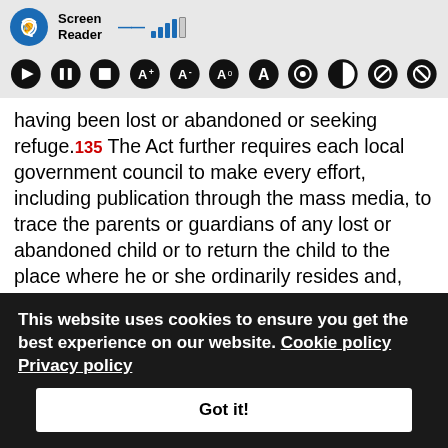[Figure (screenshot): Screen reader toolbar with logo (blue circle with ear/sound icon), 'Screen Reader' text, signal bars icon, and row of accessibility control icons (play, pause, stop, font size, contrast, etc.)]
having been lost or abandoned or seeking refuge.135 The Act further requires each local government council to make every effort, including publication through the mass media, to trace the parents or guardians of any lost or abandoned child or to return the child to the place where he or she ordinarily resides and, where this is not possible, to refer the matter to a probation or social welfare officer or to the police.136 Lastly, the Act imposes a duty on any member of the community who has evidence that a child's rights are being infringed or that a
This website uses cookies to ensure you get the best experience on our website. Cookie policy Privacy policy
Got it!